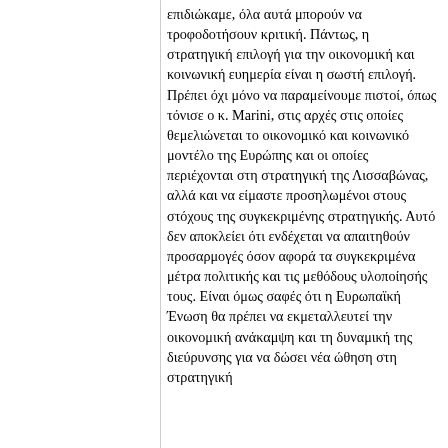επιδιώκαμε, όλα αυτά μπορούν να τροφοδοτήσουν κριτική. Πάντως, η στρατηγική επιλογή για την οικονομική και κοινωνική ευημερία είναι η σωστή επιλογή. Πρέπει όχι μόνο να παραμείνουμε πιστοί, όπως τόνισε ο κ. Marini, στις αρχές στις οποίες θεμελιώνεται το οικονομικό και κοινωνικό μοντέλο της Ευρώπης και οι οποίες περιέχονται στη στρατηγική της Λισσαβώνας, αλλά και να είμαστε προσηλωμένοι στους στόχους της συγκεκριμένης στρατηγικής. Αυτό δεν αποκλείει ότι ενδέχεται να απαιτηθούν προσαρμογές όσον αφορά τα συγκεκριμένα μέτρα πολιτικής και τις μεθόδους υλοποίησής τους. Είναι όμως σαφές ότι η Ευρωπαϊκή Ένωση θα πρέπει να εκμεταλλευτεί την οικονομική ανάκαμψη και τη δυναμική της διεύρυνσης για να δώσει νέα ώθηση στη στρατηγική